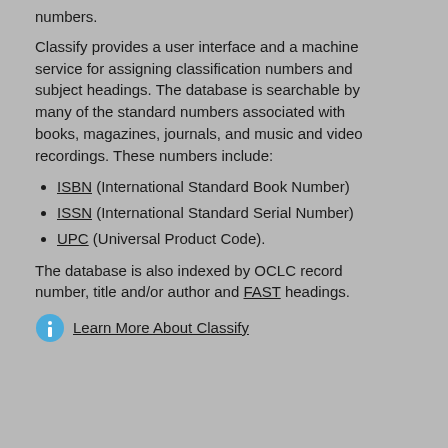numbers.
Classify provides a user interface and a machine service for assigning classification numbers and subject headings. The database is searchable by many of the standard numbers associated with books, magazines, journals, and music and video recordings. These numbers include:
ISBN (International Standard Book Number)
ISSN (International Standard Serial Number)
UPC (Universal Product Code).
The database is also indexed by OCLC record number, title and/or author and FAST headings.
Learn More About Classify